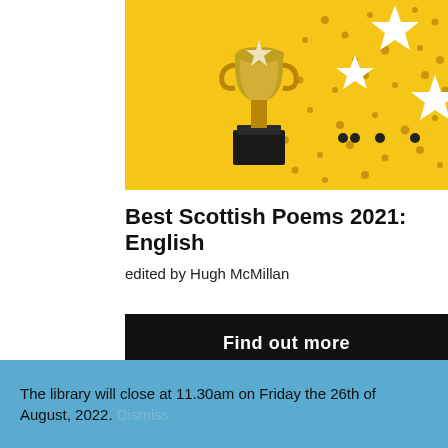[Figure (photo): Trophy/award figurine on a yellow background with gold confetti dots and white star shapes scattered around]
Best Scottish Poems 2021: English
edited by Hugh McMillan
Find out more
The library will close at 11.30am on Friday the 26th of August, 2022. Dismiss